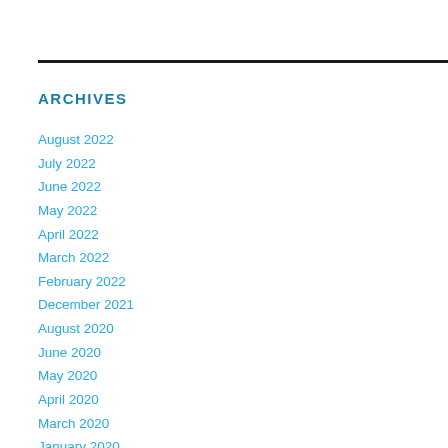ARCHIVES
August 2022
July 2022
June 2022
May 2022
April 2022
March 2022
February 2022
December 2021
August 2020
June 2020
May 2020
April 2020
March 2020
January 2020